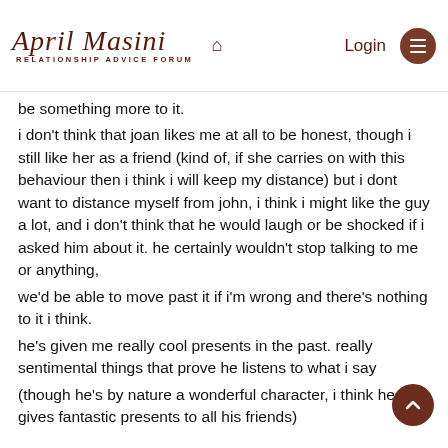April Masini Relationship Advice Forum
be something more to it.
i don't think that joan likes me at all to be honest, though i still like her as a friend (kind of, if she carries on with this behaviour then i think i will keep my distance) but i dont want to distance myself from john, i think i might like the guy a lot, and i don't think that he would laugh or be shocked if i asked him about it. he certainly wouldn't stop talking to me or anything,
we'd be able to move past it if i'm wrong and there's nothing to it i think.
he's given me really cool presents in the past. really sentimental things that prove he listens to what i say
(though he's by nature a wonderful character, i think he gives fantastic presents to all his friends)

what do you think,
i think i should talk to john about it and see what he says, or leave it and see what happens?